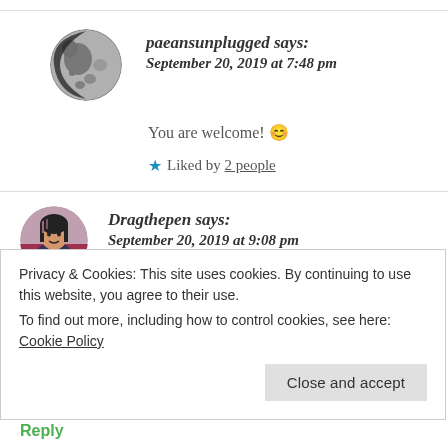[Figure (photo): Moon avatar for user paeansunplugged]
paeansunplugged says:
September 20, 2019 at 7:48 pm
You are welcome! 😊
★ Liked by 2 people
[Figure (photo): Avatar of user Dragthepen, a person with dark hair]
Dragthepen says:
September 20, 2019 at 9:08 pm
Privacy & Cookies: This site uses cookies. By continuing to use this website, you agree to their use.
To find out more, including how to control cookies, see here: Cookie Policy
Close and accept
Reply